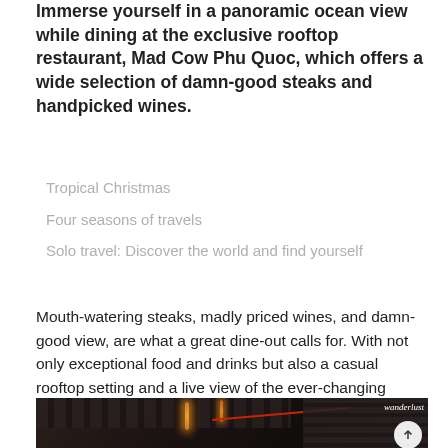Immerse yourself in a panoramic ocean view while dining at the exclusive rooftop restaurant, Mad Cow Phu Quoc, which offers a wide selection of damn-good steaks and handpicked wines.
Tropical Christmas
Four seasons of travels
Solo travel: Discover the world and find yourself
Mouth-watering steaks, madly priced wines, and damn-good view, are what a great dine-out calls for. With not only exceptional food and drinks but also a casual rooftop setting and a live view of the ever-changing sunset, diners are now tipped a playful place with families and friends.
[Figure (photo): Dark interior of Mad Cow Phu Quoc restaurant with warm hanging pendant lights, wooden ceiling panels, and a red diagonal accent element, with wanderlust magazine logo in upper right corner]